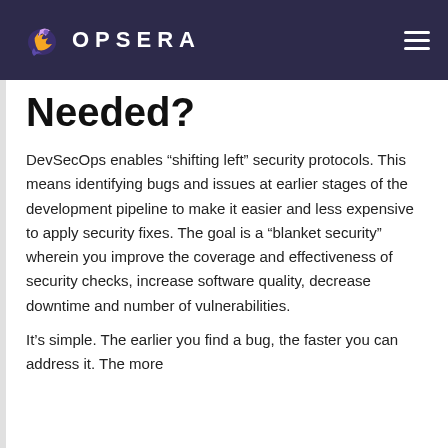OPSERA
Needed?
DevSecOps enables “shifting left” security protocols. This means identifying bugs and issues at earlier stages of the development pipeline to make it easier and less expensive to apply security fixes. The goal is a “blanket security” wherein you improve the coverage and effectiveness of security checks, increase software quality, decrease downtime and number of vulnerabilities.
It’s simple. The earlier you find a bug, the faster you can address it. The more